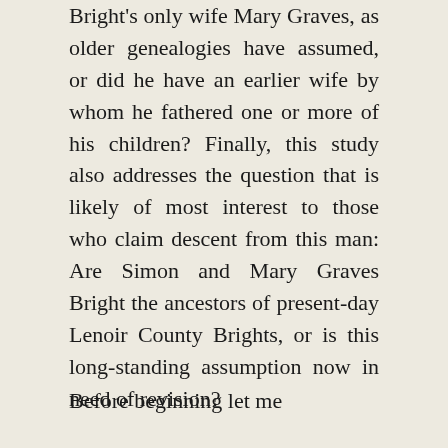Bright's only wife Mary Graves, as older genealogies have assumed, or did he have an earlier wife by whom he fathered one or more of his children? Finally, this study also addresses the question that is likely of most interest to those who claim descent from this man: Are Simon and Mary Graves Bright the ancestors of present-day Lenoir County Brights, or is this long-standing assumption now in need of revision?
Before beginning let me